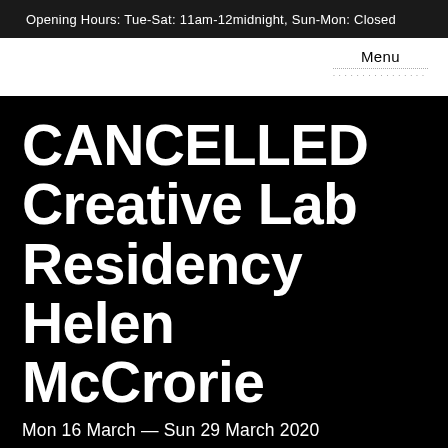Opening Hours: Tue-Sat: 11am-12midnight, Sun-Mon: Closed
Menu
CANCELLED Creative Lab Residency Helen McCrorie
Mon 16 March — Sun 29 March 2020